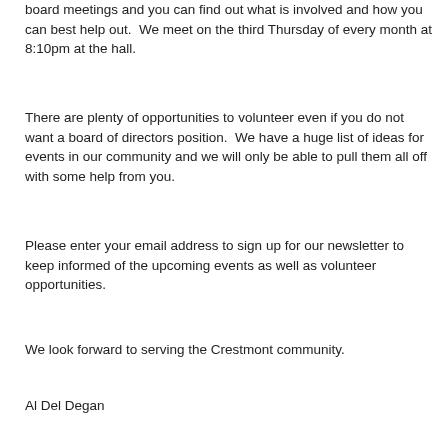board meetings and you can find out what is involved and how you can best help out.  We meet on the third Thursday of every month at 8:10pm at the hall.
There are plenty of opportunities to volunteer even if you do not want a board of directors position.  We have a huge list of ideas for events in our community and we will only be able to pull them all off with some help from you.
Please enter your email address to sign up for our newsletter to keep informed of the upcoming events as well as volunteer opportunities.
We look forward to serving the Crestmont community.
Al Del Degan